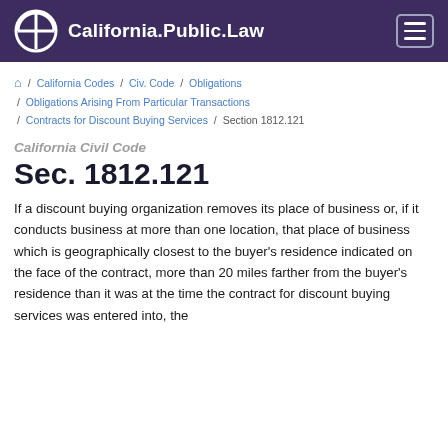California.Public.Law
Home / California Codes / Civ. Code / Obligations / Obligations Arising From Particular Transactions / Contracts for Discount Buying Services / Section 1812.121
California Civil Code
Sec. 1812.121
If a discount buying organization removes its place of business or, if it conducts business at more than one location, that place of business which is geographically closest to the buyer's residence indicated on the face of the contract, more than 20 miles farther from the buyer's residence than it was at the time the contract for discount buying services was entered into, the